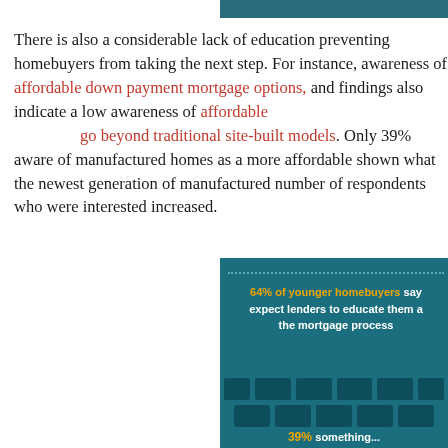There is also a considerable lack of education preventing homebuyers from taking the next step. For instance, awareness of affordable down payment mortgage options, and findings also indicate a low awareness of affordable homes that go beyond traditional site-built models. Only 39% were aware of manufactured homes as a more affordable option. When shown what the newest generation of manufactured homes looks like, the number of respondents who were interested increased.
[Figure (infographic): Teal infographic box with dotted top border stating '64% of younger homebuyers say they expect lenders to educate them about the mortgage process' with decorative brick pattern blocks below.]